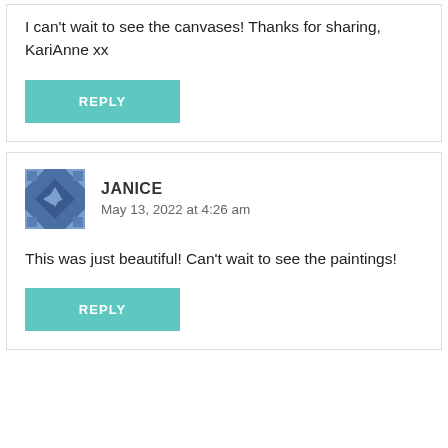I can't wait to see the canvases! Thanks for sharing, KariAnne xx
REPLY
JANICE
May 13, 2022 at 4:26 am
This was just beautiful! Can't wait to see the paintings!
REPLY